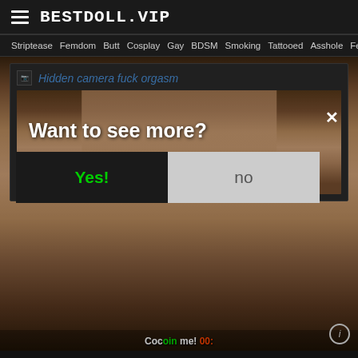BESTDOLL.VIP
Striptease  Femdom  Butt  Cosplay  Gay  BDSM  Smoking  Tattooed  Asshole  Fetish
Hidden camera fuck orgasm
[Figure (photo): Adult content website screenshot with modal dialog overlay showing 'Want to see more?' with Yes! and no buttons]
Want to see more?
Yes!
no